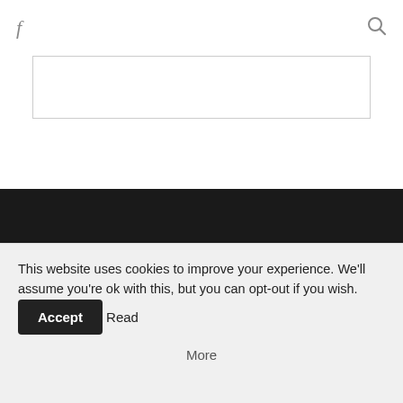f [facebook icon] | [search icon]
[Figure (screenshot): White content box with border below the navigation bar]
[Figure (screenshot): Dark background footer section with a bordered Facebook icon (f) in the center]
© Copyright 2020 Anthoscents - Disclaimer
This website uses cookies to improve your experience. We'll assume you're ok with this, but you can opt-out if you wish. Accept Read More